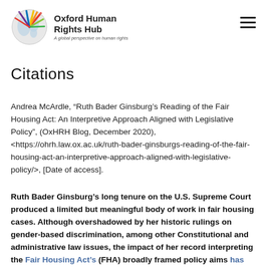[Figure (logo): Oxford Human Rights Hub logo with globe and colorful rays, text reading 'Oxford Human Rights Hub, A global perspective on human rights']
Citations
Andrea McArdle, “Ruth Bader Ginsburg’s Reading of the Fair Housing Act: An Interpretive Approach Aligned with Legislative Policy”, (OxHRH Blog, December 2020), <https://ohrh.law.ox.ac.uk/ruth-bader-ginsburgs-reading-of-the-fair-housing-act-an-interpretive-approach-aligned-with-legislative-policy/>, [Date of access].
Ruth Bader Ginsburg’s long tenure on the U.S. Supreme Court produced a limited but meaningful body of work in fair housing cases. Although overshadowed by her historic rulings on gender-based discrimination, among other Constitutional and administrative law issues, the impact of her record interpreting the Fair Housing Act’s (FHA) broadly framed policy aims has not been lost on housing advocates.